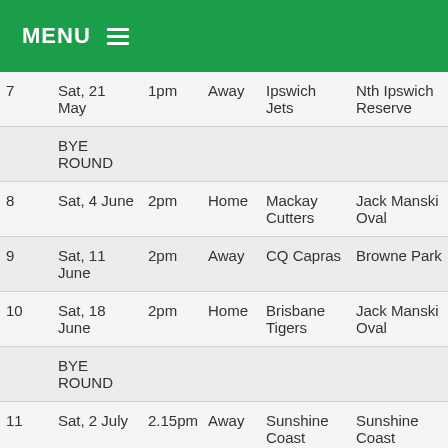MENU
| Round | Date | Time | H/A | Opponent | Venue |
| --- | --- | --- | --- | --- | --- |
| 7 | Sat, 21 May | 1pm | Away | Ipswich Jets | Nth Ipswich Reserve |
|  | BYE ROUND |  |  |  |  |
| 8 | Sat, 4 June | 2pm | Home | Mackay Cutters | Jack Manski Oval |
| 9 | Sat, 11 June | 2pm | Away | CQ Capras | Browne Park |
| 10 | Sat, 18 June | 2pm | Home | Brisbane Tigers | Jack Manski Oval |
|  | BYE ROUND |  |  |  |  |
| 11 | Sat, 2 July | 2.15pm | Away | Sunshine Coast Falcons | Sunshine Coast Stadium |